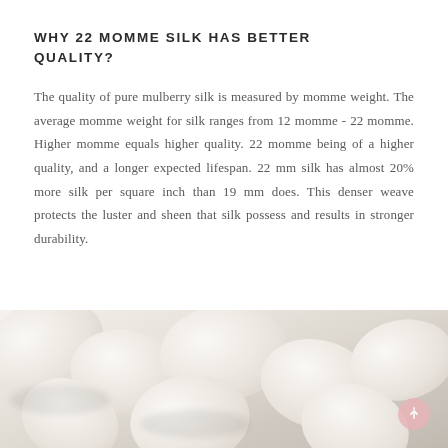WHY 22 MOMME SILK HAS BETTER QUALITY?
The quality of pure mulberry silk is measured by momme weight. The average momme weight for silk ranges from 12 momme - 22 momme. Higher momme equals higher quality. 22 momme being of a higher quality, and a longer expected lifespan. 22 mm silk has almost 20% more silk per square inch than 19 mm does. This denser weave protects the luster and sheen that silk possess and results in stronger durability.
[Figure (photo): Close-up photo of white silkworm cocoons clustered together]